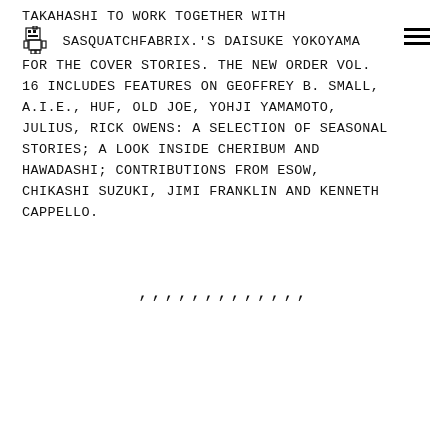Takahashi to work together with Sasquatchfabrix.'s Daisuke Yokoyama for the cover stories. THE NEW ORDER Vol. 16 includes features on Geoffrey B. Small, A.I.E., huf, OLD JOE, Yohji Yamamoto, julius, Rick Owens: a selection of seasonal stories; a look inside Cheribum and HAWADASHI; contributions from ESOW, Chikashi Suzuki, Jimi Franklin and Kenneth Cappello.
[Figure (illustration): Small pixel art / icon image appearing inline before 'Sasquatchfabrix']
,,,,,,,,,,,,,